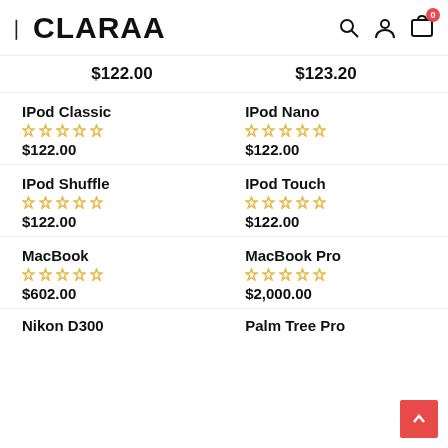CLARAA — navigation header with search, user, and cart icons
$122.00   $123.20
IPod Classic
$122.00
IPod Nano
$122.00
IPod Shuffle
$122.00
IPod Touch
$122.00
MacBook
$602.00
MacBook Pro
$2,000.00
Nikon D300
Palm Tree Pro